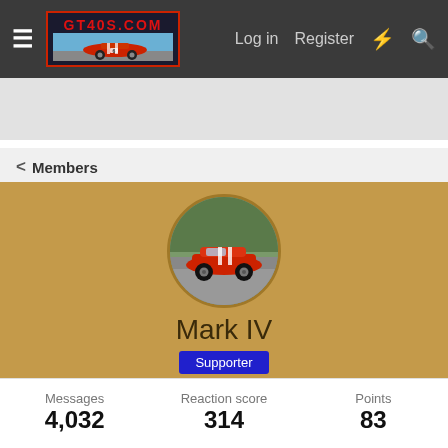GT40S.COM — Log in  Register
< Members
[Figure (photo): Profile avatar photo of a red sports car (GT40 replica) on a road, displayed in a circular crop]
Mark IV
Supporter
70
Joined: Sep 18, 2001
Last seen: Yesterday at 7:17 AM
Messages
4,032
Reaction score
314
Points
83